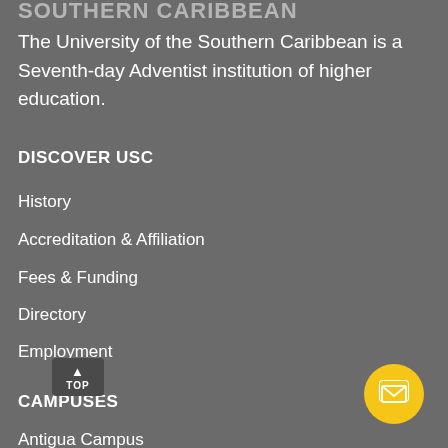SOUTHERN CARIBBEAN
The University of the Southern Caribbean is a Seventh-day Adventist institution of higher education.
DISCOVER USC
History
Accreditation & Affiliation
Fees & Funding
Directory
Employment
CAMPUSES
Antigua Campus
Barbados Campus
Guyana Campus
St. Lucia Campus